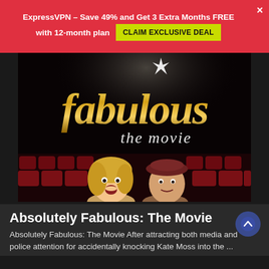ExpressVPN – Save 49% and Get 3 Extra Months FREE with 12-month plan  CLAIM EXCLUSIVE DEAL  ×
[Figure (photo): Promotional movie poster for 'Absolutely Fabulous: The Movie' showing gold stylized text 'fabulous the movie' against a dark background, with two women sitting in red cinema seats below.]
Absolutely Fabulous: The Movie
Absolutely Fabulous: The Movie After attracting both media and police attention for accidentally knocking Kate Moss into the ...